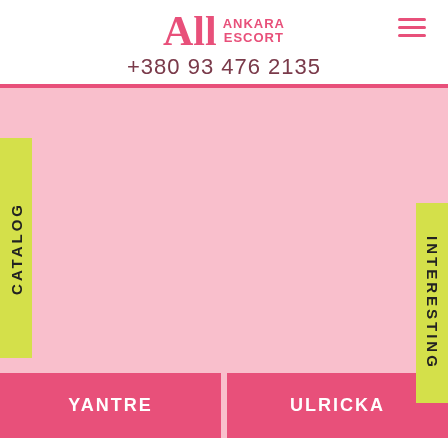All ANKARA ESCORT +380 93 476 2135
[Figure (screenshot): Large pink background area with yellow side tabs labeled CATALOG (left) and INTERESTING (right)]
YANTRE
ULRICKA